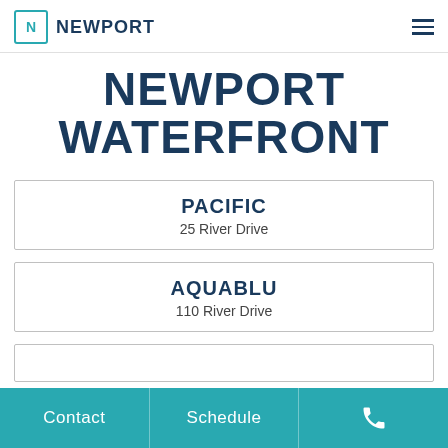NEWPORT
NEWPORT WATERFRONT
PACIFIC
25 River Drive
AQUABLU
110 River Drive
Contact | Schedule | Phone